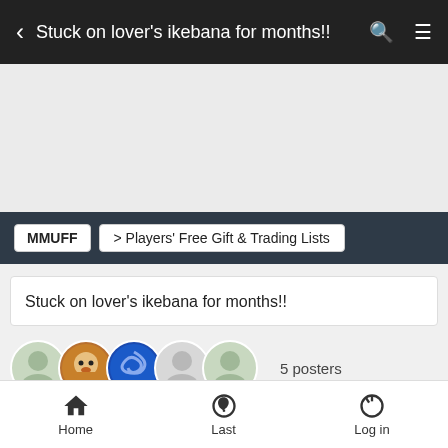Stuck on lover's ikebana for months!!
[Figure (screenshot): Empty advertisement area]
MMUFF > Players' Free Gift & Trading Lists
Stuck on lover's ikebana for months!!
[Figure (illustration): 5 user avatar icons in a row, with text '5 posters']
Home   Last   Log in